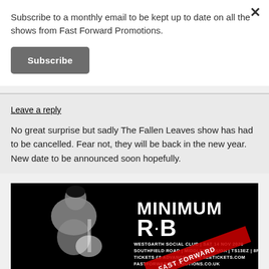Subscribe to a monthly email to be kept up to date on all the shows from Fast Forward Promotions.
Subscribe
Leave a reply
No great surprise but sadly The Fallen Leaves show has had to be cancelled. Fear not, they will be back in the new year. New date to be announced soon hopefully.
[Figure (illustration): Event poster for Minimum R&B at Westgarth Social Club, Sat 14 Nov 2020, Southfield Road, Middlesbrough, TS13EZ, 8pm, Tickets £8 advance from SeeTickets.com, FastForwardPromotions.co.uk. Black and white image of a musician on left, large white text MINIMUM R·B on right.]